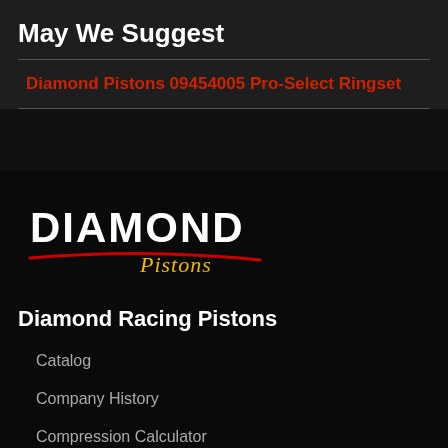May We Suggest
Diamond Pistons 09454005 Pro-Select Ringset
[Figure (logo): Diamond Pistons logo — 'DIAMOND' in large white block letters, 'Pistons' in gold italic script below, with a red swoosh underline]
Diamond Racing Pistons
Catalog
Company History
Compression Calculator
Job Opportunities